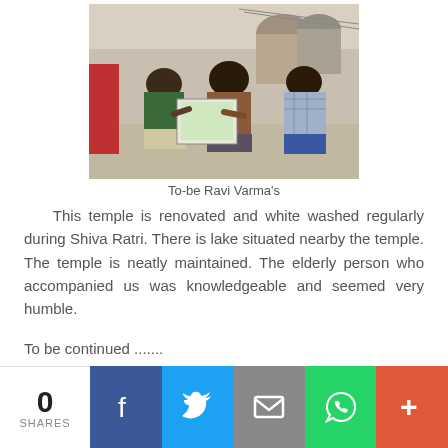[Figure (photo): Several people sitting on the ground painting/drawing on canvases, viewed from behind, in an outdoor setting]
To-be Ravi Varma's
This temple is renovated and white washed regularly during Shiva Ratri. There is lake situated nearby the temple. The temple is neatly maintained. The elderly person who accompanied us was knowledgeable and seemed very humble.
To be continued .......
12 comments: